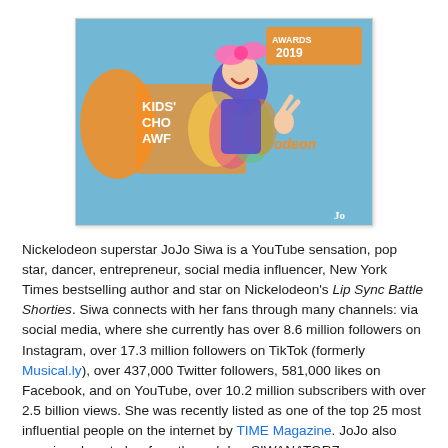[Figure (photo): JoJo Siwa at the Nickelodeon Kids' Choice Awards 2019, wearing a colorful outfit with a pink bow, making a peace sign, with the Awards 2019 logo visible in the background.]
Nickelodeon superstar JoJo Siwa is a YouTube sensation, pop star, dancer, entrepreneur, social media influencer, New York Times bestselling author and star on Nickelodeon's Lip Sync Battle Shorties. Siwa connects with her fans through many channels: via social media, where she currently has over 8.6 million followers on Instagram, over 17.3 million followers on TikTok (formerly Musical.ly), over 437,000 Twitter followers, 581,000 likes on Facebook, and on YouTube, over 10.2 million subscribers with over 2.5 billion views. She was recently listed as one of the top 25 most influential people on the internet by TIME Magazine. JoJo also remains close to her fans through her SIWANATORZ